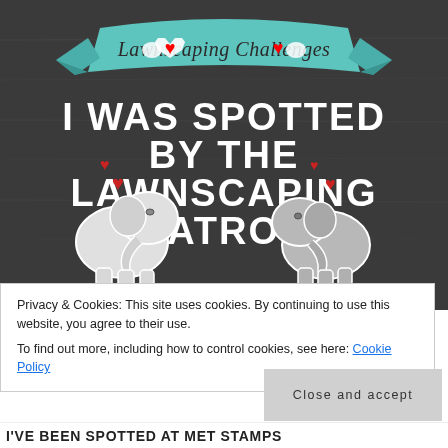[Figure (illustration): Lawnscaping Challenges badge: dark chalkboard background with teal ribbon banner at top reading 'Lawnscaping Challenges', large white text 'I WAS SPOTTED BY THE LAWNSCAPING PATROL', two cartoon elephants, red hearts, and 'WWW.LAWNSCAPING.BLOGSPOT.COM' at the bottom]
Privacy & Cookies: This site uses cookies. By continuing to use this website, you agree to their use.
To find out more, including how to control cookies, see here: Cookie Policy
Close and accept
I'VE BEEN SPOTTED AT MET STAMPS